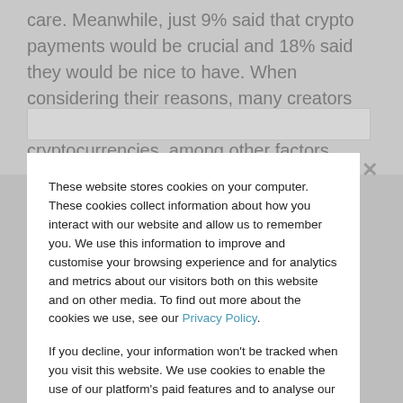care. Meanwhile, just 9% said that crypto payments would be crucial and 18% said they would be nice to have. When considering their reasons, many creators considered the unsustainable nature of cryptocurrencies, among other factors
These website stores cookies on your computer. These cookies collect information about how you interact with our website and allow us to remember you. We use this information to improve and customise your browsing experience and for analytics and metrics about our visitors both on this website and on other media. To find out more about the cookies we use, see our Privacy Policy.

If you decline, your information won't be tracked when you visit this website. We use cookies to enable the use of our platform's paid features and to analyse our traffic. No personal data, including your IP address, is stored and we do not sell data to third parties.